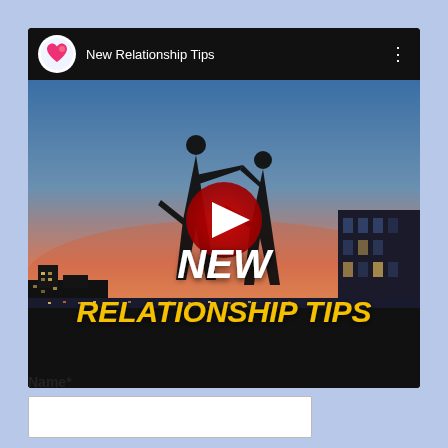[Figure (screenshot): YouTube video embed showing 'New Relationship Tips' with a silhouette of two people dancing at sunset, a YouTube play button overlay, text overlays 'NEW' in white and 'RELATIONSHIP TIPS' in yellow, and a channel icon with the channel name in the top bar.]
Name*